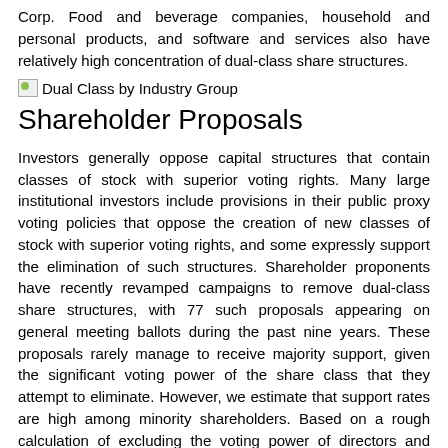Corp. Food and beverage companies, household and personal products, and software and services also have relatively high concentration of dual-class share structures.
[Figure (other): Broken image placeholder labeled 'Dual Class by Industry Group']
Shareholder Proposals
Investors generally oppose capital structures that contain classes of stock with superior voting rights. Many large institutional investors include provisions in their public proxy voting policies that oppose the creation of new classes of stock with superior voting rights, and some expressly support the elimination of such structures. Shareholder proponents have recently revamped campaigns to remove dual-class share structures, with 77 such proposals appearing on general meeting ballots during the past nine years. These proposals rarely manage to receive majority support, given the significant voting power of the share class that they attempt to eliminate. However, we estimate that support rates are high among minority shareholders. Based on a rough calculation of excluding the voting power of directors and officers from the vote tally, we estimate median support rates for these proposals at approximately 60 percent of votes cast. The actual support levels among minority investors are likely higher, since, in many instances, the super-voting stock is also held by non-directors and non-executives.